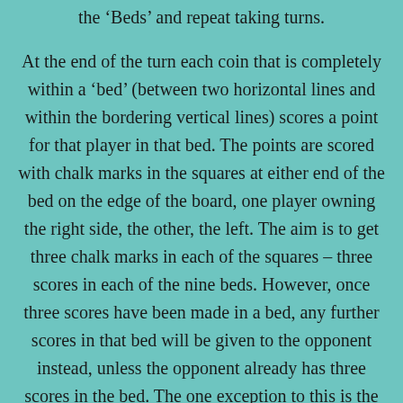the ‘Beds’ and repeat taking turns.

At the end of the turn each coin that is completely within a ‘bed’ (between two horizontal lines and within the bordering vertical lines) scores a point for that player in that bed. The points are scored with chalk marks in the squares at either end of the bed on the edge of the board, one player owning the right side, the other, the left. The aim is to get three chalk marks in each of the squares – three scores in each of the nine beds. However, once three scores have been made in a bed, any further scores in that bed will be given to the opponent instead, unless the opponent already has three scores in the bed. The one exception to this is the winning point which must be scored